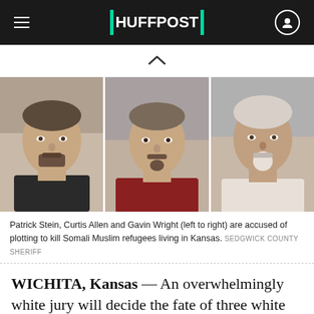HUFFPOST
[Figure (photo): Three mugshot photos side by side: Patrick Stein (left), Curtis Allen (center), Gavin Wright (right)]
Patrick Stein, Curtis Allen and Gavin Wright (left to right) are accused of plotting to kill Somali Muslim refugees living in Kansas. SEDGWICK COUNTY SHERIFF
WICHITA, Kansas — An overwhelmingly white jury will decide the fate of three white militiamen